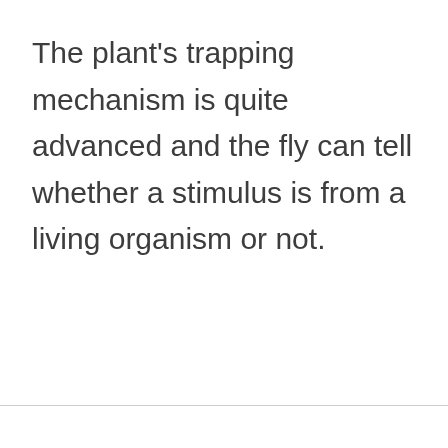The plant's trapping mechanism is quite advanced and the fly can tell whether a stimulus is from a living organism or not.